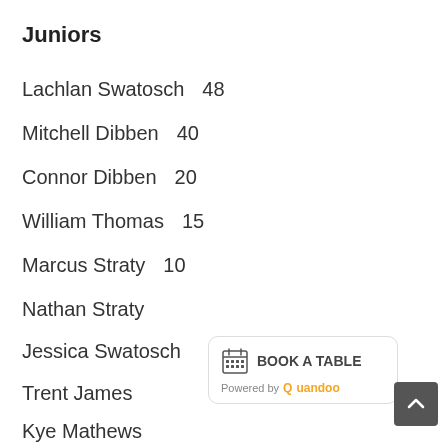Juniors
Lachlan Swatosch   48
Mitchell Dibben   40
Connor Dibben   20
William Thomas   15
Marcus Straty   10
Nathan Straty
Jessica Swatosch
Trent James
Kye Mathews